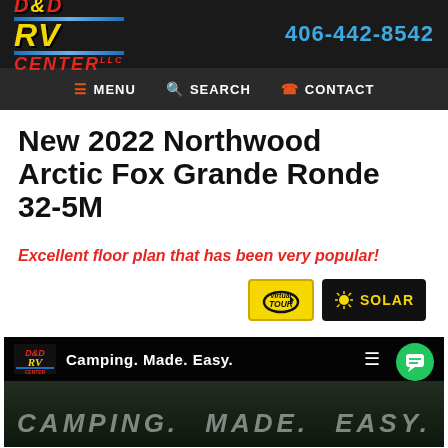D&D RV Center LLC — 406-442-8542 — MENU | SEARCH | CONTACT
New 2022 Northwood Arctic Fox Grande Ronde 32-5M
Excellent floor plan that has been very popular!
[Figure (screenshot): Virtual Tour badge and Solar badge on yellow and black backgrounds]
[Figure (screenshot): D&D RV Center video thumbnail showing 'Camping. Made. Easy.' with logo overlay and chat bubble]